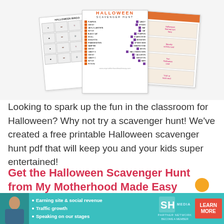[Figure (illustration): Mockup of Halloween scavenger hunt printable sheets: left sheet shows bingo grid with Halloween images, center sheet shows 'Halloween Scavenger Hunt' checklist with orange and purple checkboxes, right sheet shows Halloween-themed cards with text.]
Looking to spark up the fun in the classroom for Halloween? Why not try a scavenger hunt! We've created a free printable Halloween scavenger hunt pdf that will keep you and your kids super entertained!
Get the Halloween Scavenger Hunt from My Motherhood Made Easy
Need even more Halloween inspiration?
[Figure (infographic): Advertisement banner for SHE Media Partner Network. Features a woman photo, bullet points: Earning site & social revenue, Traffic growth, Speaking on our stages. SHE logo with Partner Network and Become a Member text. Red LEARN MORE button. Teal background.]